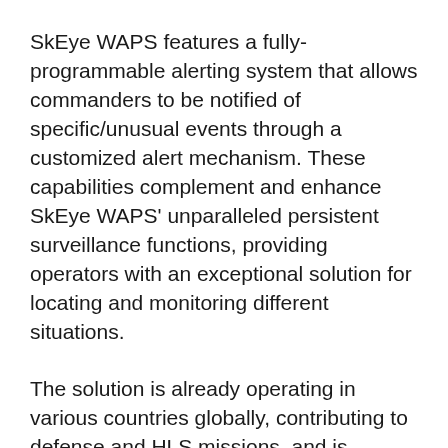SkEye WAPS features a fully-programmable alerting system that allows commanders to be notified of specific/unusual events through a customized alert mechanism. These capabilities complement and enhance SkEye WAPS' unparalleled persistent surveillance functions, providing operators with an exceptional solution for locating and monitoring different situations.
The solution is already operating in various countries globally, contributing to defense and HLS missions, and is installed on various types of unmanned aircraft vehicles and light aircraft.
Bezhalel (Butzi) Machlis, Elbit Systems'